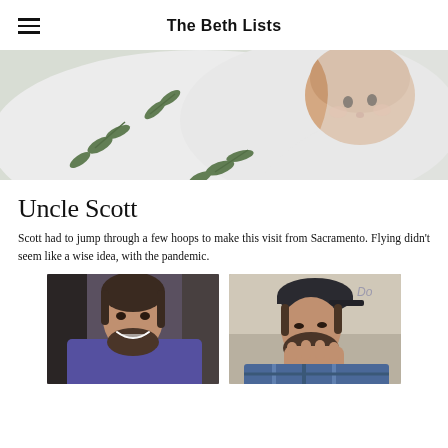The Beth Lists
[Figure (photo): Close-up photo of a newborn baby wrapped in a white swaddle blanket with green leaf pattern, lying down looking toward camera]
Uncle Scott
Scott had to jump through a few hoops to make this visit from Sacramento. Flying didn't seem like a wise idea, with the pandemic.
[Figure (photo): Photo of a bearded man with medium-length hair smiling at the camera, wearing a purple/blue shirt]
[Figure (photo): Photo of a bearded man with medium-length hair looking down, wearing a plaid shirt]